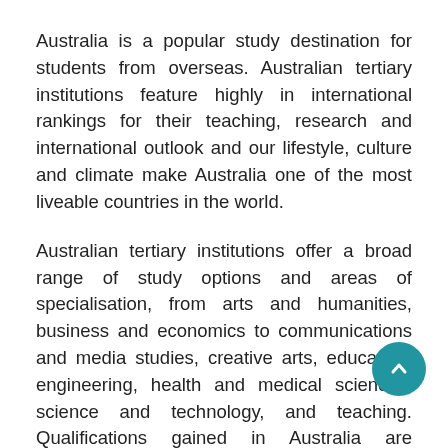Australia is a popular study destination for students from overseas. Australian tertiary institutions feature highly in international rankings for their teaching, research and international outlook and our lifestyle, culture and climate make Australia one of the most liveable countries in the world.
Australian tertiary institutions offer a broad range of study options and areas of specialisation, from arts and humanities, business and economics to communications and media studies, creative arts, education, engineering, health and medical sciences, science and technology, and teaching. Qualifications gained in Australia are recognised around the world. If you apply to study in Australia through UAC, you'll be applying to institutions located in New South Wales (NSW) and the Australian Capital...